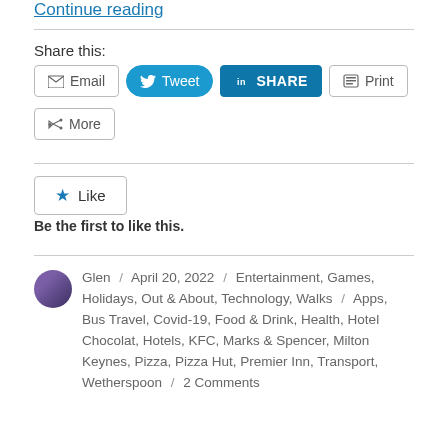Continue reading
Share this:
Email  Tweet  SHARE  Print  More
Like
Be the first to like this.
Glen / April 20, 2022 / Entertainment, Games, Holidays, Out & About, Technology, Walks / Apps, Bus Travel, Covid-19, Food & Drink, Health, Hotel Chocolat, Hotels, KFC, Marks & Spencer, Milton Keynes, Pizza, Pizza Hut, Premier Inn, Transport, Wetherspoon / 2 Comments